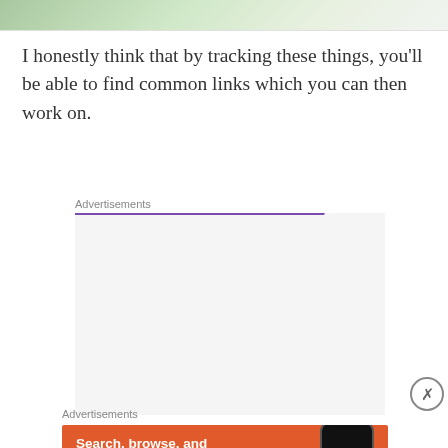[Figure (photo): Partial top image, cropped, appears to be a nature or article header image with green tones]
I honestly think that by tracking these things, you'll be able to find common links which you can then work on.
Advertisements
[Figure (illustration): WooCommerce advertisement banner: purple banner with WooCommerce logo, teal triangle shape, blue arc, text 'How to start selling subscriptions online', purple underline bar]
Advertisements
[Figure (illustration): DuckDuckGo advertisement: orange background, text 'Search, browse, and email with more privacy.' with phone and duck icon]